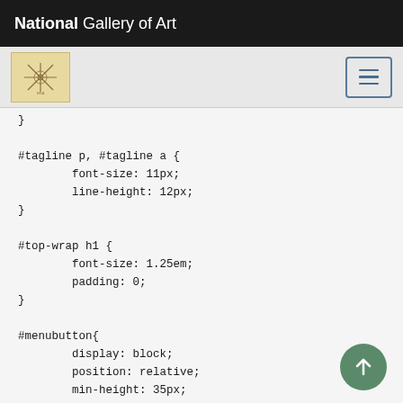National Gallery of Art
[Figure (screenshot): Navigation bar with NGA logo thumbnail and hamburger menu button on grey background]
}

#tagline p, #tagline a {
        font-size: 11px;
        line-height: 12px;
}

#top-wrap h1 {
        font-size: 1.25em;
        padding: 0;
}

#menubutton{
        display: block;
        position: relative;
        min-height: 35px;
        font-family: 'Open Sans', sans-serif;